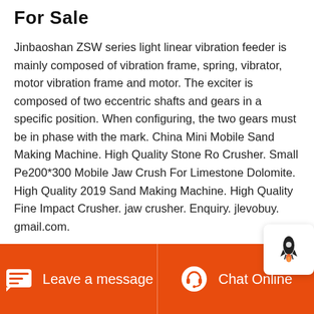For Sale
Jinbaoshan ZSW series light linear vibration feeder is mainly composed of vibration frame, spring, vibrator, motor vibration frame and motor. The exciter is composed of two eccentric shafts and gears in a specific position. When configuring, the two gears must be in phase with the mark. China Mini Mobile Sand Making Machine. High Quality Stone Rock Crusher. Small Pe200*300 Mobile Jaw Crusher For Limestone Dolomite. High Quality 2019 Sand Making Machine. High Quality Fine Impact Crusher. jaw crusher. Enquiry. jlevobuy.gmail.com.
[Figure (other): Rocket icon popup button in bottom-right area]
Leave a message   Chat Online